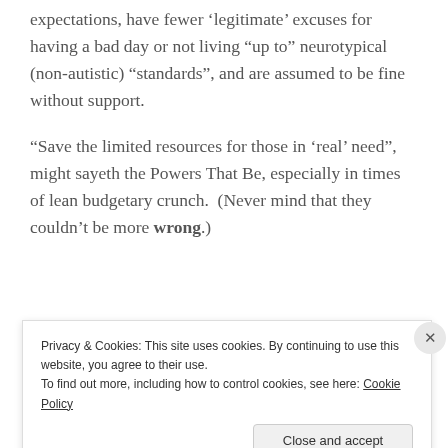expectations, have fewer ‘legitimate’ excuses for having a bad day or not living “up to” neurotypical (non-autistic) “standards”, and are assumed to be fine without support.
“Save the limited resources for those in ‘real’ need”, might sayeth the Powers That Be, especially in times of lean budgetary crunch.  (Never mind that they couldn’t be more wrong.)
[Figure (other): WordPress VIP advertisement banner with logo and Learn more button on a peach/orange gradient background]
Privacy & Cookies: This site uses cookies. By continuing to use this website, you agree to their use.
To find out more, including how to control cookies, see here: Cookie Policy
Close and accept